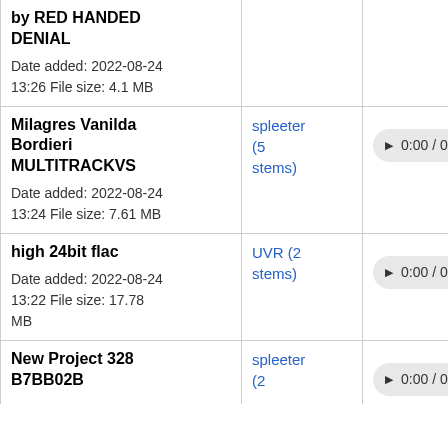| Track | Tool | Player |
| --- | --- | --- |
| by RED HANDED DENIAL
Date added: 2022-08-24
13:26 File size: 4.1 MB |  |  |
| Milagres Vanilda Bordieri MULTITRACKVS
Date added: 2022-08-24
13:24 File size: 7.61 MB | spleeter (5 stems) | ▶ 0:00 / 0:00 |
| high 24bit flac
Date added: 2022-08-24
13:22 File size: 17.78 MB | UVR (2 stems) | ▶ 0:00 / 0:00 |
| New Project 328 B7BB02B
spleeter (2 ... |  | ▶ 0:00 / 0:00 |